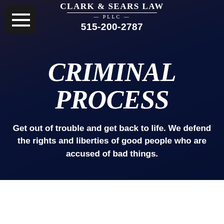CLARK & SEARS LAW PLLC | 515-200-2787
CRIMINAL PROCESS
Get out of trouble and get back to life. We defend the rights and liberties of good people who are accused of bad things.
DES MOINES